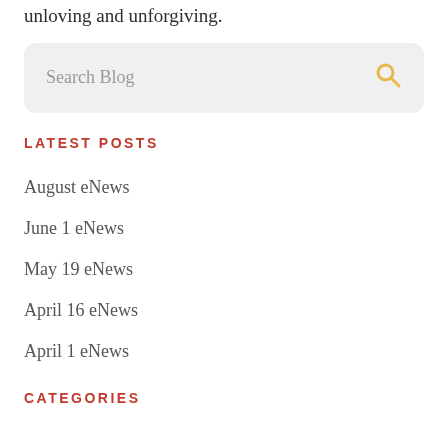unloving and unforgiving.
[Figure (other): Search blog input box with placeholder text 'Search Blog' and a yellow search icon on the right]
LATEST POSTS
August eNews
June 1 eNews
May 19 eNews
April 16 eNews
April 1 eNews
CATEGORIES